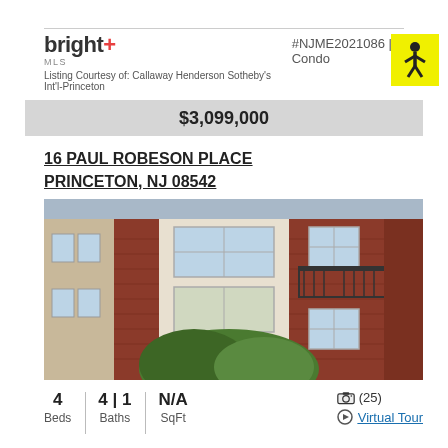bright MLS — #NJME2021086 | Condo — Listing Courtesy of: Callaway Henderson Sotheby's Int'l-Princeton
$3,099,000
16 PAUL ROBESON PLACE
PRINCETON, NJ 08542
[Figure (photo): Exterior photo of brick residential building with white-framed windows and balconies, green tree in foreground]
4 Beds | 4|1 Baths | N/A SqFt | (25) photos | Virtual Tour